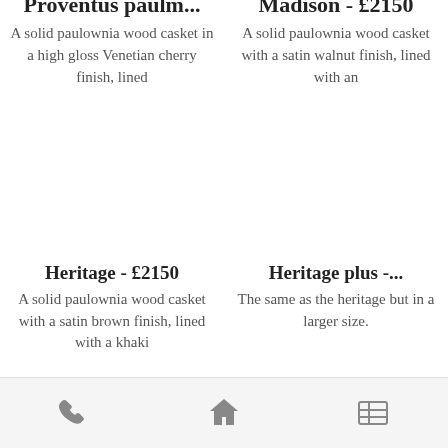Proventus paulm - [price cut off]
A solid paulownia wood casket in a high gloss Venetian cherry finish, lined
Madison - £2150 (cut off)
A solid paulownia wood casket with a satin walnut finish, lined with an
Heritage - £2150
A solid paulownia wood casket with a satin brown finish, lined with a khaki
Heritage plus -...
The same as the heritage but in a larger size.
Phone | Home | Menu icons